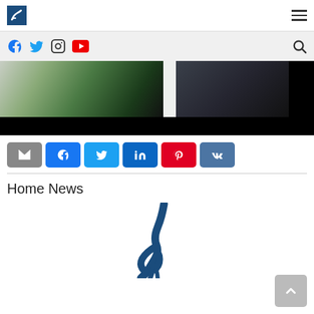[Figure (screenshot): Website top navigation bar with a blue logo icon on the left and hamburger menu on the right]
[Figure (screenshot): Social media icons bar (Facebook, Twitter, Instagram, YouTube) with a search icon on the right, on a light gray background]
[Figure (photo): A partially visible photo showing a room interior with a green item, white curtain/door, and dark background with a black bar at the bottom]
[Figure (screenshot): Row of social share buttons: email (gray), Facebook (blue), Twitter (light blue), LinkedIn (dark blue), Pinterest (red), VK (blue)]
Home News
[Figure (logo): Dark blue logo illustration of a rope tied in a knot, partial view showing the upper portion]
[Figure (screenshot): Gray back-to-top button with a white upward chevron arrow in the bottom-right corner]